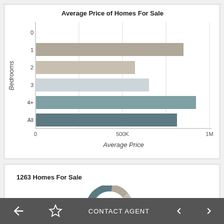[Figure (bar-chart): Average Price of Homes For Sale]
1263 Homes For Sale
[Figure (donut-chart): Partial donut chart visible at bottom of second card]